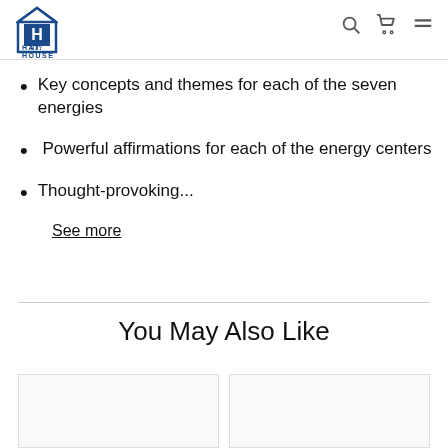Hay House navigation header with logo, search, cart, and menu icons
Key concepts and themes for each of the seven energies
Powerful affirmations for each of the energy centers
Thought-provoking...
See more
You May Also Like
[Figure (other): Two product card placeholders in a 'You May Also Like' section]